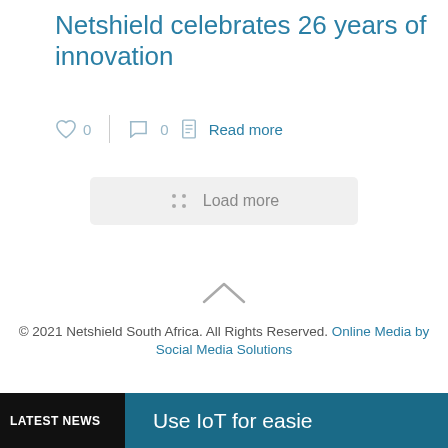Netshield celebrates 26 years of innovation
♡ 0   |   ○ 0   📄 Read more
⠿ Load more
∧
© 2021 Netshield South Africa. All Rights Reserved. Online Media by Social Media Solutions
LATEST NEWS   Use IoT for easie…